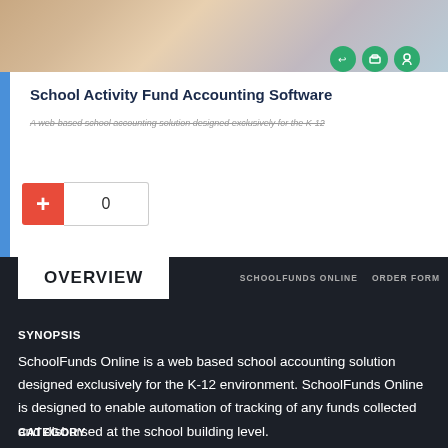[Figure (photo): Top banner photo showing students/people, partially visible, with gradient overlay. Three small green circular icons visible at bottom right of image.]
School Activity Fund Accounting Software
A web-based school accounting solution designed exclusively for the K-12
[Figure (other): Add to cart UI: red plus button and quantity box showing 0]
OVERVIEW
SCHOOLFUNDS ONLINE   ORDER FORM
SYNOPSIS
SchoolFunds Online is a web based school accounting solution designed exclusively for the K-12 environment. SchoolFunds Online is designed to enable automation of tracking of any funds collected and disbursed at the school building level.
CATEGORY